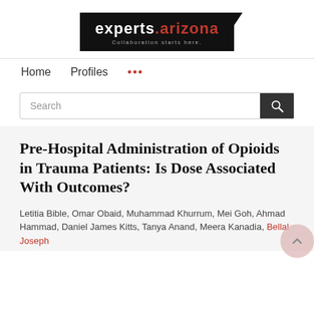[Figure (logo): experts.arizona logo with tagline 'Collaboration starts here.' on black background]
Home   Profiles   ...
Search
Pre-Hospital Administration of Opioids in Trauma Patients: Is Dose Associated With Outcomes?
Letitia Bible, Omar Obaid, Muhammad Khurrum, Mei Goh, Ahmad Hammad, Daniel James Kitts, Tanya Anand, Meera Kanadia, Bellal Joseph